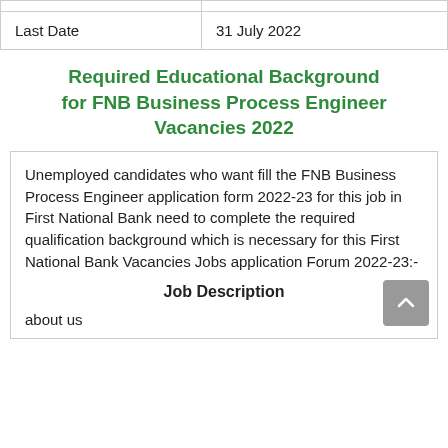|  |  |
| --- | --- |
|  |  |
| Last Date | 31 July 2022 |
Required Educational Background for FNB Business Process Engineer Vacancies 2022
Unemployed candidates who want fill the FNB Business Process Engineer application form 2022-23 for this job in First National Bank need to complete the required qualification background which is necessary for this First National Bank Vacancies Jobs application Forum 2022-23:-
Job Description
about us